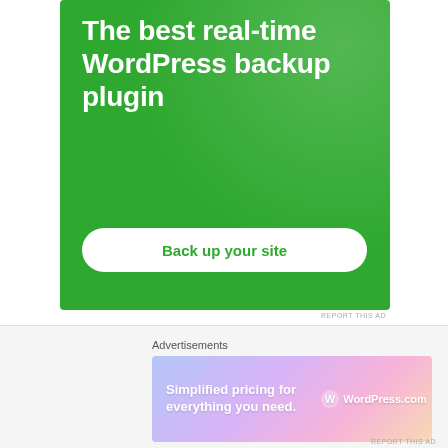[Figure (illustration): Green advertisement banner for WordPress backup plugin. Large white bold text reads 'The best real-time WordPress backup plugin' on a green background with subtle dot pattern. A white rounded button reads 'Back up your site' in green text.]
REPORT THIS AD
Calendar
[Figure (illustration): Bottom advertisement bar with 'Advertisements' label and a gradient banner for WordPress.com reading 'Simplified pricing for everything you need.' with WordPress.com logo.]